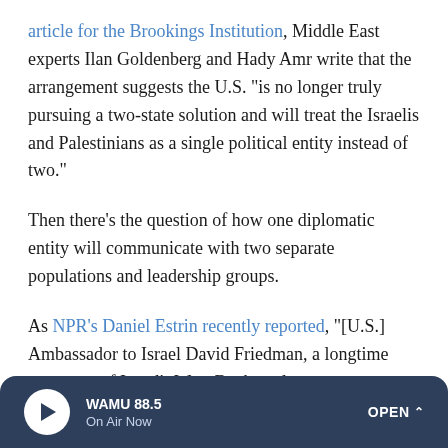article for the Brookings Institution, Middle East experts Ilan Goldenberg and Hady Amr write that the arrangement suggests the U.S. "is no longer truly pursuing a two-state solution and will treat the Israelis and Palestinians as a single political entity instead of two."
Then there's the question of how one diplomatic entity will communicate with two separate populations and leadership groups.
As NPR's Daniel Estrin recently reported, "[U.S.] Ambassador to Israel David Friedman, a longtime supporter of Israel's West Bank settler movement whom Palestinians see as their ideological opponent, will oversee diplomatic
WAMU 88.5 On Air Now OPEN